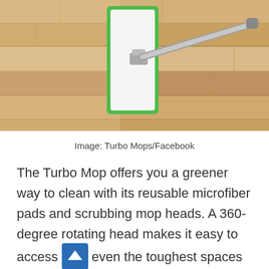[Figure (photo): Top-down view of a flat mop with white microfiber pad and green border frame on a light hardwood floor. The mop has a silver/grey extending handle attached at the center.]
Image: Turbo Mops/Facebook
The Turbo Mop offers you a greener way to clean with its reusable microfiber pads and scrubbing mop heads. A 360-degree rotating head makes it easy to access even the toughest spaces and it works for